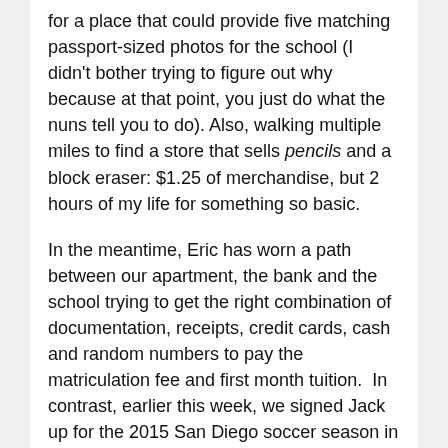for a place that could provide five matching passport-sized photos for the school (I didn't bother trying to figure out why because at that point, you just do what the nuns tell you to do). Also, walking multiple miles to find a store that sells pencils and a block eraser: $1.25 of merchandise, but 2 hours of my life for something so basic.

In the meantime, Eric has worn a path between our apartment, the bank and the school trying to get the right combination of documentation, receipts, credit cards, cash and random numbers to pay the matriculation fee and first month tuition.  In contrast, earlier this week, we signed Jack up for the 2015 San Diego soccer season in six minutes via a website, our Mastercard and an email.  From 4981 kilometers away. The Colombians could learn a thing or two